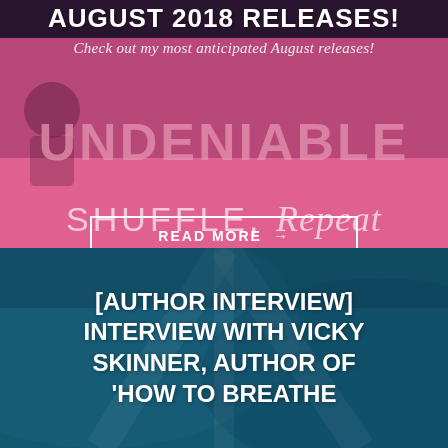AUGUST 2018 RELEASES!
Check out my most anticipated August releases!
READ MORE →
[Figure (photo): Stack of books including 'Undeniable' and 'Shuffle, Repeat' as background image]
[AUTHOR INTERVIEW] INTERVIEW WITH VICKY SKINNER, AUTHOR OF 'HOW TO BREATHE